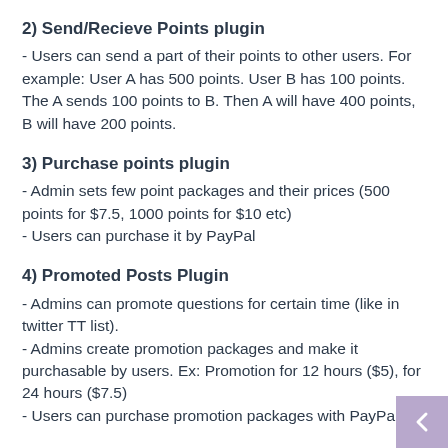2) Send/Recieve Points plugin
- Users can send a part of their points to other users. For example: User A has 500 points. User B has 100 points.
The A sends 100 points to B. Then A will have 400 points, B will have 200 points.
3) Purchase points plugin
- Admin sets few point packages and their prices (500 points for $7.5, 1000 points for $10 etc)
- Users can purchase it by PayPal
4) Promoted Posts Plugin
- Admins can promote questions for certain time (like in twitter TT list).
- Admins create promotion packages and make it purchasable by users. Ex: Promotion for 12 hours ($5), for 24 hours ($7.5)
- Users can purchase promotion packages with PayPal